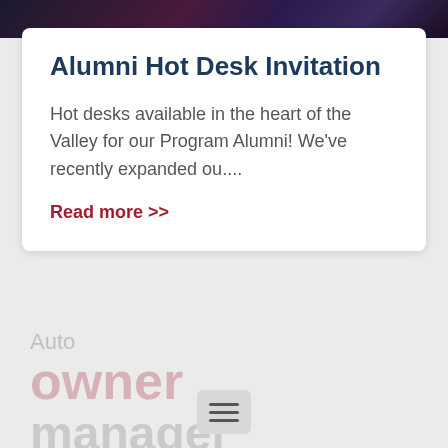[Figure (photo): Dark banner image with blurred city/night lights in red, blue, and purple tones at the top of the page]
Alumni Hot Desk Invitation
Hot desks available in the heart of the Valley for our Program Alumni! We've recently expanded ou....
Read more >>
[Figure (other): Faded watermark text showing 'Auto', 'owner', 'manager' in light gray and red tones]
[Figure (other): Hamburger menu button (three horizontal lines) in a light gray rounded rectangle at the bottom center]